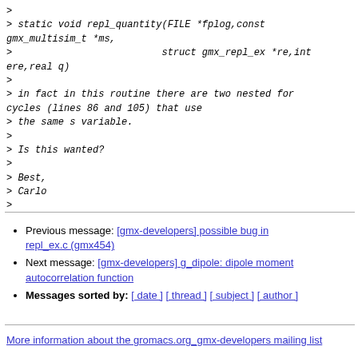> 
> static void repl_quantity(FILE *fplog,const gmx_multisim_t *ms,
> 								 struct gmx_repl_ex *re,int ere,real q)
>
> in fact in this routine there are two nested for cycles (lines 86 and 105) that use
> the same s variable.
>
> Is this wanted?
>
> Best,
> Carlo
>
Previous message: [gmx-developers] possible bug in repl_ex.c (gmx454)
Next message: [gmx-developers] g_dipole: dipole moment autocorrelation function
Messages sorted by: [ date ] [ thread ] [ subject ] [ author ]
More information about the gromacs.org_gmx-developers mailing list